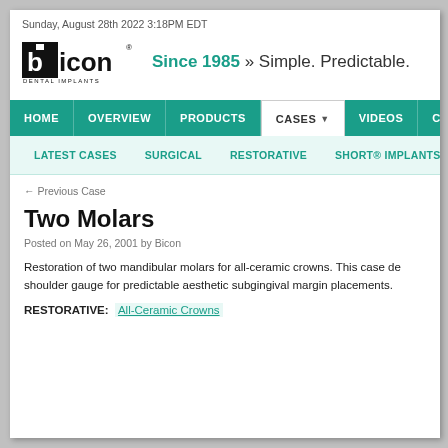Sunday, August 28th 2022 3:18PM EDT
[Figure (logo): Bicon Dental Implants logo with tagline: Since 1985 » Simple. Predictable.]
HOME | OVERVIEW | PRODUCTS | CASES | VIDEOS | CO...
LATEST CASES | SURGICAL | RESTORATIVE | SHORT® IMPLANTS
← Previous Case
Two Molars
Posted on May 26, 2001 by Bicon
Restoration of two mandibular molars for all-ceramic crowns. This case de... shoulder gauge for predictable aesthetic subgingival margin placements.
RESTORATIVE: All-Ceramic Crowns